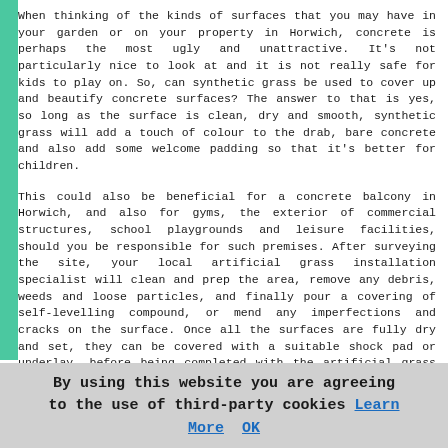When thinking of the kinds of surfaces that you may have in your garden or on your property in Horwich, concrete is perhaps the most ugly and unattractive. It's not particularly nice to look at and it is not really safe for kids to play on. So, can synthetic grass be used to cover up and beautify concrete surfaces? The answer to that is yes, so long as the surface is clean, dry and smooth, synthetic grass will add a touch of colour to the drab, bare concrete and also add some welcome padding so that it's better for children.
This could also be beneficial for a concrete balcony in Horwich, and also for gyms, the exterior of commercial structures, school playgrounds and leisure facilities, should you be responsible for such premises. After surveying the site, your local artificial grass installation specialist will clean and prep the area, remove any debris, weeds and loose particles, and finally pour a covering of self-levelling compound, or mend any imperfections and cracks on the surface. Once all the surfaces are fully dry and set, they can be covered with a suitable shock pad or underlay, before being completed with the artificial grass that you have chosen.
By using this website you are agreeing to the use of third-party cookies Learn More OK